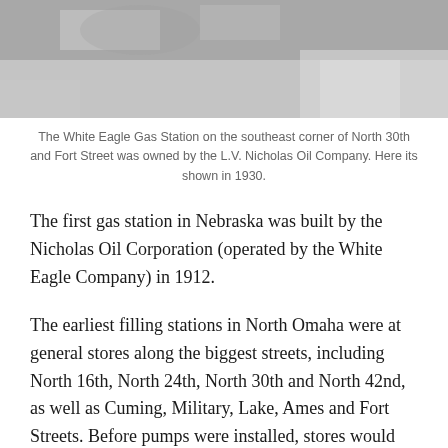[Figure (photo): Black and white photograph of the White Eagle Gas Station, cropped showing the top portion of the station and surrounding area.]
The White Eagle Gas Station on the southeast corner of North 30th and Fort Street was owned by the L.V. Nicholas Oil Company. Here its shown in 1930.
The first gas station in Nebraska was built by the Nicholas Oil Corporation (operated by the White Eagle Company) in 1912.
The earliest filling stations in North Omaha were at general stores along the biggest streets, including North 16th, North 24th, North 30th and North 42nd, as well as Cuming, Military, Lake, Ames and Fort Streets. Before pumps were installed, stores would simply put gas in buckets and funneled it into cars. When gas stations were invented and spread across the community, many were manually powered roadside pumps that were operated by a